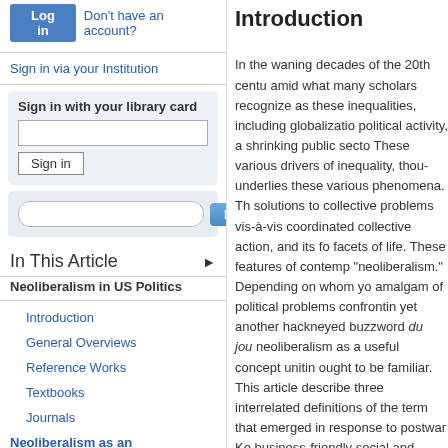[Figure (screenshot): Login button and 'Don't have an account?' link]
Sign in via your Institution
Sign in with your library card
[Figure (screenshot): Search bar with Find button]
In This Article
Neoliberalism in US Politics
Introduction
General Overviews
Reference Works
Textbooks
Journals
Neoliberalism as an Intellectual and Historical...
Introduction
In the waning decades of the 20th centu... amid what many scholars recognize as... these inequalities, including globalizatio... political activity, a shrinking public secto... These various drivers of inequality, thou... underlies these various phenomena. Th... solutions to collective problems vis-à-vis... coordinated collective action, and its fo... facets of life. These features of contemp... "neoliberalism." Depending on whom yo... amalgam of political problems confrontin... yet another hackneyed buzzword du jou... neoliberalism as a useful concept unitin... ought to be familiar. This article describe... three interrelated definitions of the term... that emerged in response to postwar Ke... business-friendly social and political clin... article builds on these three characteriza... how neoliberal principles have impacted... neoliberalism is vast and wide-ranging.... the influence of neoliberalism on one as... uncover a critical aspect of neoliberalis... itself. Collectively, however, these works...